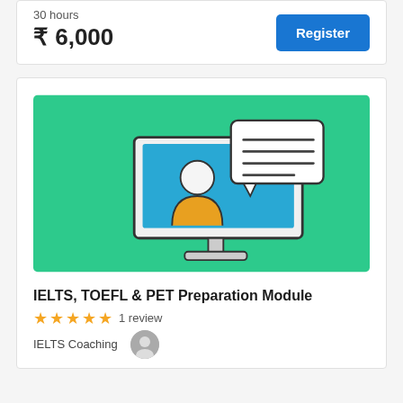30 hours
₹ 6,000
Register
[Figure (illustration): Online education illustration: a computer monitor with a person icon on a blue background, with a speech bubble containing horizontal lines. Green background.]
IELTS, TOEFL & PET Preparation Module
1 review
IELTS Coaching